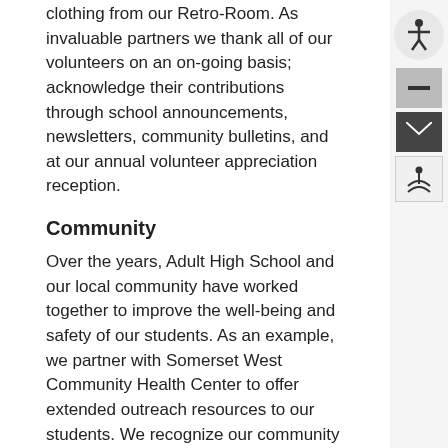clothing from our Retro-Room. As invaluable partners we thank all of our volunteers on an on-going basis; acknowledge their contributions through school announcements, newsletters, community bulletins, and at our annual volunteer appreciation reception.
Community
Over the years, Adult High School and our local community have worked together to improve the well-being and safety of our students. As an example, we partner with Somerset West Community Health Center to offer extended outreach resources to our students. We recognize our community partners through our school announcements, newsletters, school web site, personal correspondence and special events. They often participate in our outreach activities and our Professional Activity days.